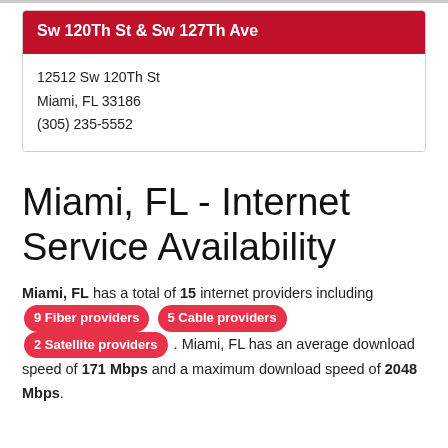Sw 120Th St & Sw 127Th Ave
12512 Sw 120Th St
Miami, FL 33186
(305) 235-5552
Miami, FL - Internet Service Availability
Miami, FL has a total of 15 internet providers including 9 Fiber providers 5 Cable providers 2 Satellite providers . Miami, FL has an average download speed of 171 Mbps and a maximum download speed of 2048 Mbps.